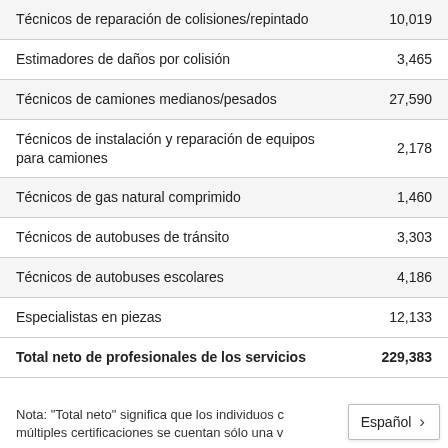| Categoría | Número |
| --- | --- |
| Técnicos de reparación de colisiones/repintado | 10,019 |
| Estimadores de daños por colisión | 3,465 |
| Técnicos de camiones medianos/pesados | 27,590 |
| Técnicos de instalación y reparación de equipos para camiones | 2,178 |
| Técnicos de gas natural comprimido | 1,460 |
| Técnicos de autobuses de tránsito | 3,303 |
| Técnicos de autobuses escolares | 4,186 |
| Especialistas en piezas | 12,133 |
| Total neto de profesionales de los servicios | 229,383 |
Nota: "Total neto" significa que los individuos con múltiples certificaciones se cuentan sólo una v...